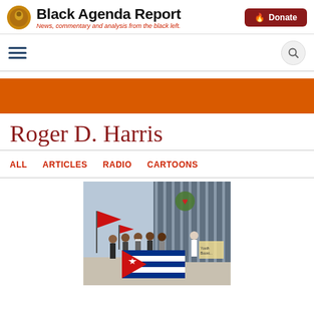Black Agenda Report — News, commentary and analysis from the black left.
[Figure (logo): Black Agenda Report logo with circular icon and site title]
Roger D. Harris
ALL
ARTICLES
RADIO
CARTOONS
[Figure (photo): Group of protesters near a border fence holding red flags and a Cuban flag]